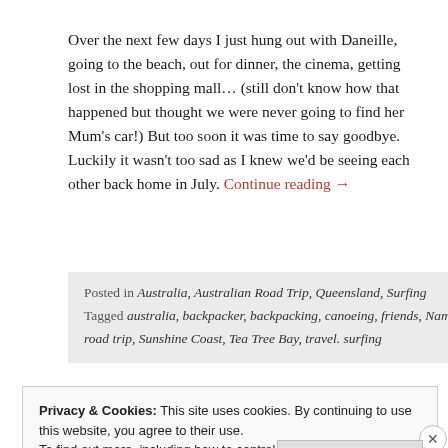Over the next few days I just hung out with Daneille, going to the beach, out for dinner, the cinema, getting lost in the shopping mall… (still don't know how that happened but thought we were never going to find her Mum's car!) But too soon it was time to say goodbye. Luckily it wasn't too sad as I knew we'd be seeing each other back home in July. Continue reading →
Posted in Australia, Australian Road Trip, Queensland, Surfing
Tagged australia, backpacker, backpacking, canoeing, friends, Nambour, Noosa, Queensland, road trip, Sunshine Coast, Tea Tree Bay, travel. surfing
Privacy & Cookies: This site uses cookies. By continuing to use this website, you agree to their use.
To find out more, including how to control cookies, see here: Cookie Policy